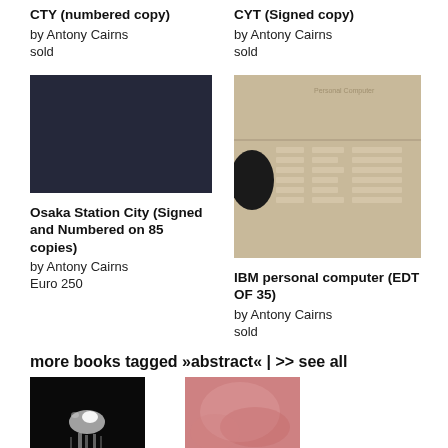CTY (numbered copy)
by Antony Cairns
sold
CYT (Signed copy)
by Antony Cairns
sold
[Figure (photo): Dark navy/black colored book cover, rectangular]
Osaka Station City (Signed and Numbered on 85 copies)
by Antony Cairns
Euro 250
[Figure (photo): IBM personal computer box/packaging with IBM logo visible]
IBM personal computer (EDT OF 35)
by Antony Cairns
sold
more books tagged »abstract« | >> see all
[Figure (photo): Black and white photo with light streaks]
[Figure (photo): Pink/red toned abstract photo]